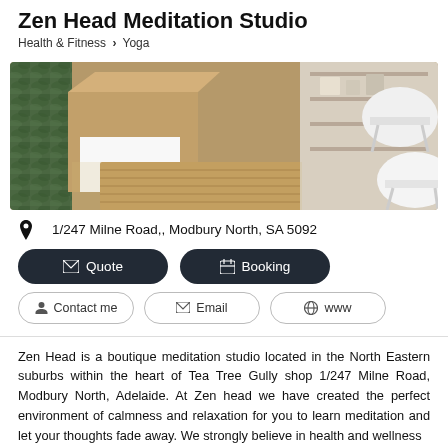Zen Head Meditation Studio
Health & Fitness › Yoga
[Figure (photo): Interior of Zen Head Meditation Studio showing a wooden reception desk, green plant wall, bamboo mat, and white chairs]
1/247 Milne Road,, Modbury North, SA 5092
Quote | Booking
Contact me | Email | www
Zen Head is a boutique meditation studio located in the North Eastern suburbs within the heart of Tea Tree Gully shop 1/247 Milne Road, Modbury North, Adelaide. At Zen head we have created the perfect environment of calmness and relaxation for you to learn meditation and let your thoughts fade away. We strongly believe in health and wellness